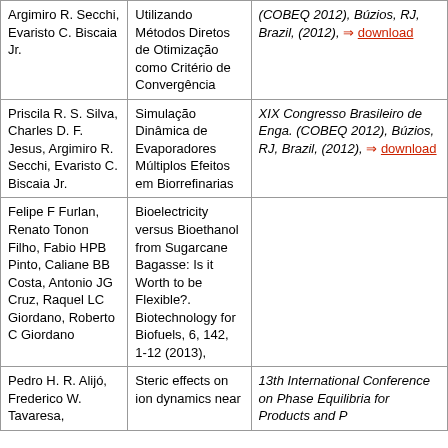| Authors | Title | Venue |
| --- | --- | --- |
| Argimiro R. Secchi, Evaristo C. Biscaia Jr. | Utilizando Métodos Diretos de Otimização como Critério de Convergência | XIX Congresso Brasileiro de Engenharia Química (COBEQ 2012), Búzios, RJ, Brazil, (2012), ⇒ download |
| Priscila R. S. Silva, Charles D. F. Jesus, Argimiro R. Secchi, Evaristo C. Biscaia Jr. | Simulação Dinâmica de Evaporadores Múltiplos Efeitos em Biorrefinarias | XIX Congresso Brasileiro de Engenharia Química (COBEQ 2012), Búzios, RJ, Brazil, (2012), ⇒ download |
| Felipe F Furlan, Renato Tonon Filho, Fabio HPB Pinto, Caliane BB Costa, Antonio JG Cruz, Raquel LC Giordano, Roberto C Giordano | Bioelectricity versus Bioethanol from Sugarcane Bagasse: Is it Worth to be Flexible?. Biotechnology for Biofuels, 6, 142, 1-12 (2013), |  |
| Pedro H. R. Alijó, Frederico W. Tavaresa, | Steric effects on ion dynamics near | 13th International Conference on Properties and Phase Equilibria for Products and P... |